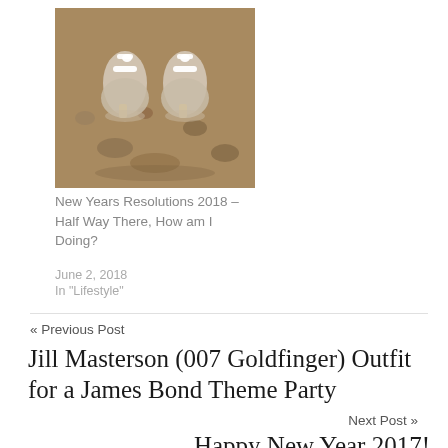[Figure (photo): Photo of feet wearing white heels/sandals standing on dirt/gravel ground, viewed from above]
New Years Resolutions 2018 – Half Way There, How am I Doing?
June 2, 2018
In "Lifestyle"
« Previous Post
Jill Masterson (007 Goldfinger) Outfit for a James Bond Theme Party
Next Post »
Happy New Year 2017!